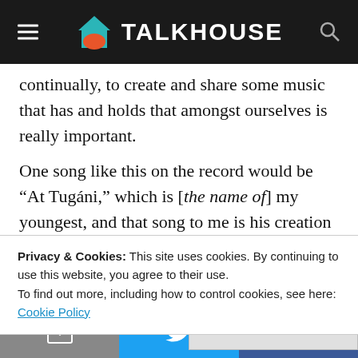TALKHOUSE
continually, to create and share some music that has and holds that amongst ourselves is really important.
One song like this on the record would be “At Tugáni,” which is [the name of] my youngest, and that song to me is his creation story. It’s where he comes from and how he got here. I think sonically and lyrically, it kind of captures some of that. As the record progresses, we go through all these other conversations. They don’t define
Privacy & Cookies: This site uses cookies. By continuing to use this website, you agree to their use.
To find out more, including how to control cookies, see here: Cookie Policy